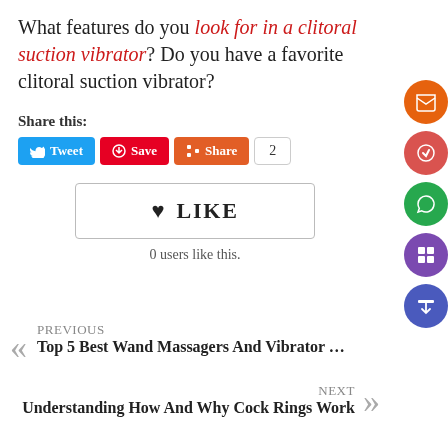What features do you look for in a clitoral suction vibrator? Do you have a favorite clitoral suction vibrator?
Share this:
Tweet | Save | Share | 2
♥ LIKE
0 users like this.
PREVIOUS
Top 5 Best Wand Massagers And Vibrator ...
NEXT
Understanding How And Why Cock Rings Work